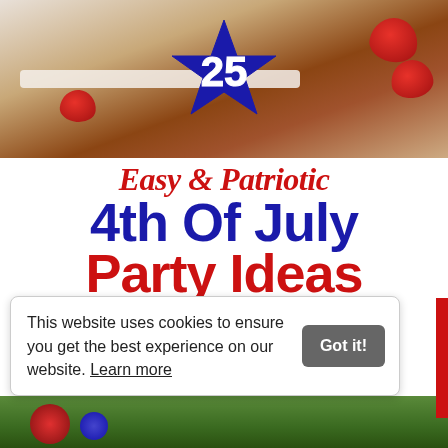[Figure (photo): Photo of a chocolate brownie decorated with strawberries and white cream, with a large blue star badge showing the number 25 overlaid on top]
Easy & Patriotic 4th Of July Party Ideas
This website uses cookies to ensure you get the best experience on our website. Learn more
[Figure (photo): Bottom strip showing a partial photo with green background and colorful circular objects]